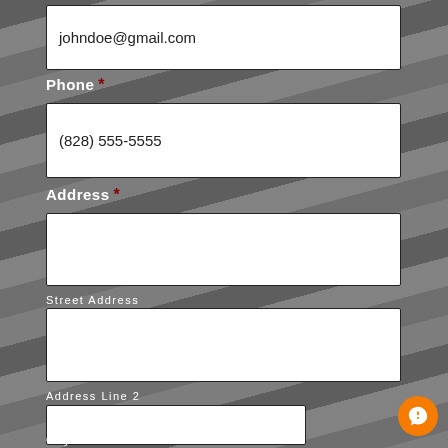johndoe@gmail.com
Phone *
(828) 555-5555
Address *
Street Address
Address Line 2
City